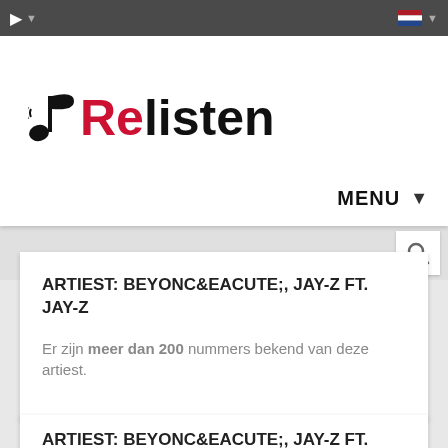Relisten - music website header with navigation bar
🎵 Relisten
MENU ▾
ARTIEST: BEYONC&EACUTE;, JAY-Z FT. JAY-Z
Er zijn meer dan 200 nummers bekend van deze artiest.
ARTIEST: BEYONC&EACUTE;, JAY-Z FT. JAY-Z